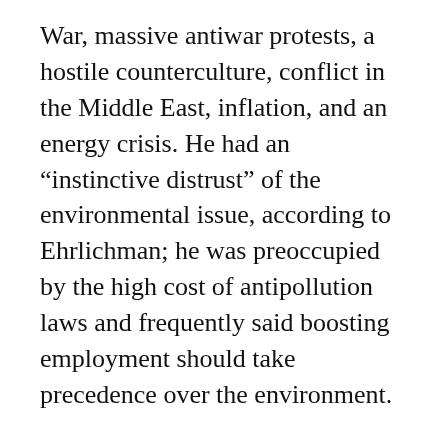War, massive antiwar protests, a hostile counterculture, conflict in the Middle East, inflation, and an energy crisis. He had an “instinctive distrust” of the environmental issue, according to Ehrlichman; he was preoccupied by the high cost of antipollution laws and frequently said boosting employment should take precedence over the environment.
“In a flat choice between smoke and jobs, we’re for jobs,” he once told Ehrlichman. “But just keep me out of trouble on environmental issues.”